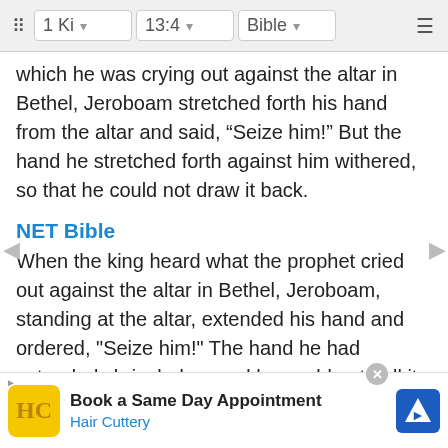1 Ki  13:4  Bible
which he was crying out against the altar in Bethel, Jeroboam stretched forth his hand from the altar and said, “Seize him!” But the hand he stretched forth against him withered, so that he could not draw it back.
NET Bible
When the king heard what the prophet cried out against the altar in Bethel, Jeroboam, standing at the altar, extended his hand and ordered, "Seize him!" The hand he had extended shriveled up and he could not pull it back.
New Revised Standard Version
When the king heard what the man of God cried out against the altar at Bethel, Jeroboam stretch... out his ha... the hand ... so